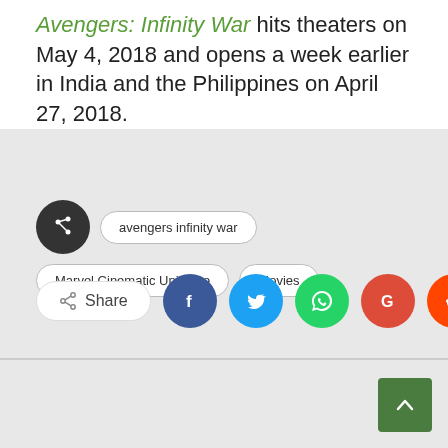Avengers: Infinity War hits theaters on May 4, 2018 and opens a week earlier in India and the Philippines on April 27, 2018.
Tags: avengers infinity war | Marvel Cinematic Universe | Movies
[Figure (infographic): Share button row with social media icons: Share, Facebook, Twitter, WhatsApp, Google, Reddit, Pinterest, Email]